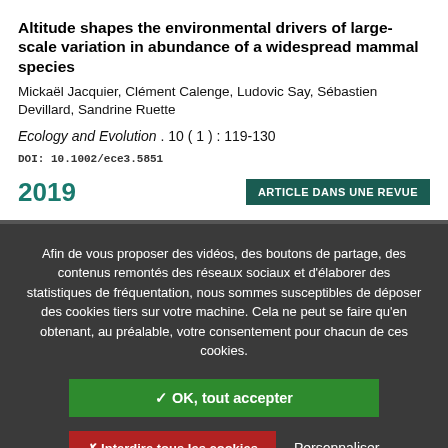Altitude shapes the environmental drivers of large-scale variation in abundance of a widespread mammal species
Mickaël Jacquier, Clément Calenge, Ludovic Say, Sébastien Devillard, Sandrine Ruette
Ecology and Evolution . 10 ( 1 ) : 119-130
DOI: 10.1002/ece3.5851
2019
ARTICLE DANS UNE REVUE
Afin de vous proposer des vidéos, des boutons de partage, des contenus remontés des réseaux sociaux et d'élaborer des statistiques de fréquentation, nous sommes susceptibles de déposer des cookies tiers sur votre machine. Cela ne peut se faire qu'en obtenant, au préalable, votre consentement pour chacun de ces cookies.
✓ OK, tout accepter
✗ Interdire tous les cookies
Personnaliser